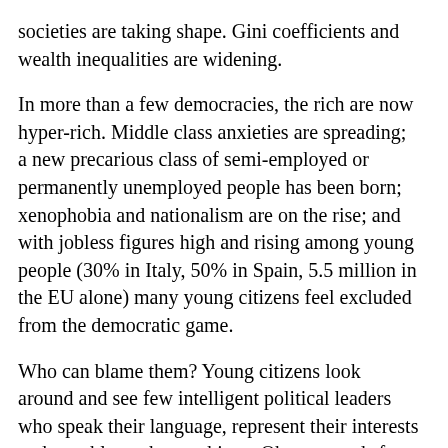societies are taking shape. Gini coefficients and wealth inequalities are widening.
In more than a few democracies, the rich are now hyper-rich. Middle class anxieties are spreading; a new precarious class of semi-employed or permanently unemployed people has been born; xenophobia and nationalism are on the rise; and with jobless figures high and rising among young people (30% in Italy, 50% in Spain, 5.5 million in the EU alone) many young citizens feel excluded from the democratic game.
Who can blame them? Young citizens look around and see few intelligent political leaders who speak their language, represent their interests and are able to change things. Obama stands for broken promises. For them, electoral democracy is